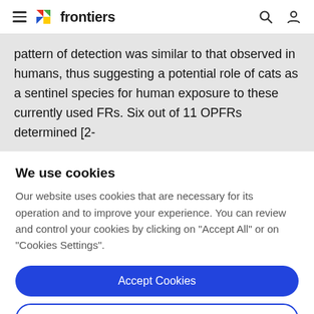frontiers
pattern of detection was similar to that observed in humans, thus suggesting a potential role of cats as a sentinel species for human exposure to these currently used FRs. Six out of 11 OPFRs determined [2-
We use cookies
Our website uses cookies that are necessary for its operation and to improve your experience. You can review and control your cookies by clicking on "Accept All" or on "Cookies Settings".
Accept Cookies
Cookies Settings